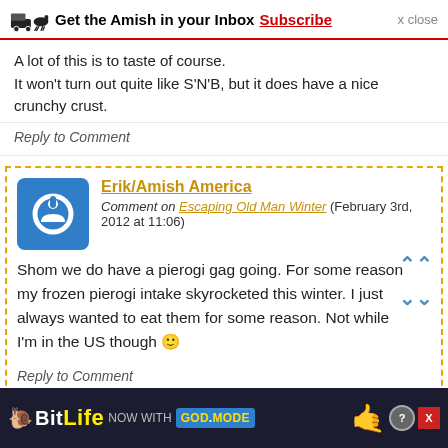Get the Amish in your Inbox Subscribe  x close
A lot of this is to taste of course.
It won't turn out quite like S'N'B, but it does have a nice crunchy crust.
Reply to Comment
Erik/Amish America
Comment on Escaping Old Man Winter (February 3rd, 2012 at 11:06)
Shom we do have a pierogi gag going. For some reason my frozen pierogi intake skyrocketed this winter. I just always wanted to eat them for some reason. Not while I'm in the US though 🙂
Reply to Comment
[Figure (infographic): BitLife advertisement banner: NOW WITH GOD MODE]